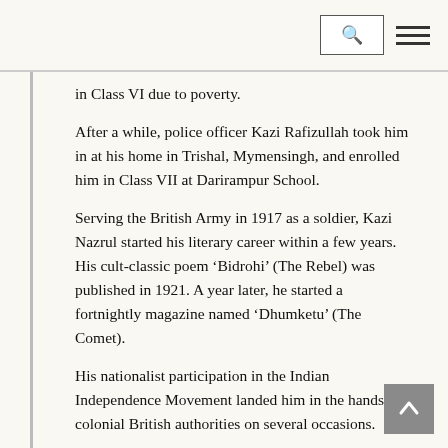[search icon] [menu icon]
in Class VI due to poverty.
After a while, police officer Kazi Rafizullah took him in at his home in Trishal, Mymensingh, and enrolled him in Class VII at Darirampur School.
Serving the British Army in 1917 as a soldier, Kazi Nazrul started his literary career within a few years. His cult-classic poem ‘Bidrohi’ (The Rebel) was published in 1921. A year later, he started a fortnightly magazine named ‘Dhumketu’ (The Comet).
His nationalist participation in the Indian Independence Movement landed him in the hands of colonial British authorities on several occasions.